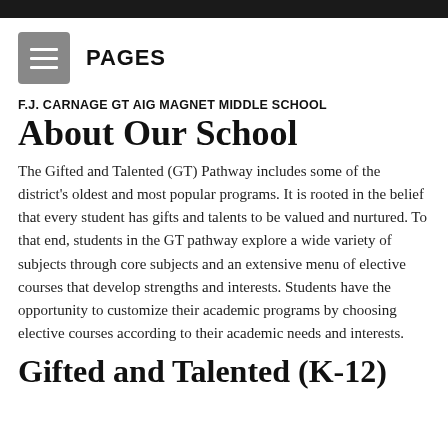[Figure (other): Hamburger menu icon button (grey square with three white horizontal lines) followed by PAGES label]
F.J. CARNAGE GT AIG MAGNET MIDDLE SCHOOL
About Our School
The Gifted and Talented (GT) Pathway includes some of the district's oldest and most popular programs. It is rooted in the belief that every student has gifts and talents to be valued and nurtured. To that end, students in the GT pathway explore a wide variety of subjects through core subjects and an extensive menu of elective courses that develop strengths and interests. Students have the opportunity to customize their academic programs by choosing elective courses according to their academic needs and interests.
Gifted and Talented (K-12)